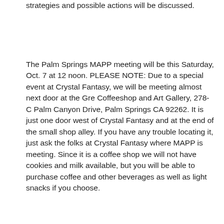strategies and possible actions will be discussed.
The Palm Springs MAPP meeting will be this Saturday, Oct. 7 at 12 noon. PLEASE NOTE: Due to a special event at Crystal Fantasy, we will be meeting almost next door at the Gre Coffeeshop and Art Gallery, 278-C Palm Canyon Drive, Palm Springs CA 92262. It is just one door west of Crystal Fantasy and at the end of the small shop alley. If you have any trouble locating it, just ask the folks at Crystal Fantasy where MAPP is meeting. Since it is a coffee shop we will not have cookies and milk available, but you will be able to purchase coffee and other beverages as well as light snacks if you choose.